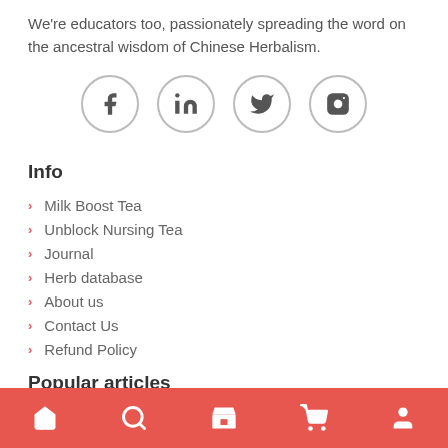We're educators too, passionately spreading the word on the ancestral wisdom of Chinese Herbalism.
[Figure (other): Social media icons: Facebook, LinkedIn, Twitter, Instagram]
Info
Milk Boost Tea
Unblock Nursing Tea
Journal
Herb database
About us
Contact Us
Refund Policy
Popular articles
Jul 07, 2021;
Home | Search | Shop | Cart | Account